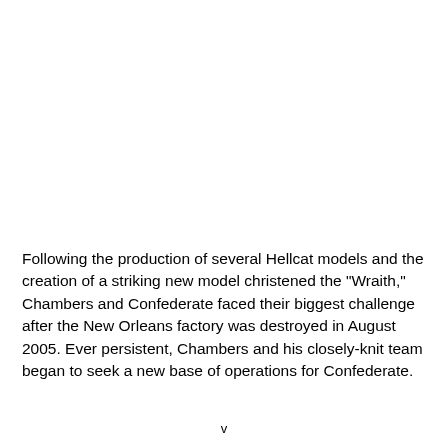Following the production of several Hellcat models and the creation of a striking new model christened the "Wraith," Chambers and Confederate faced their biggest challenge after the New Orleans factory was destroyed in August 2005. Ever persistent, Chambers and his closely-knit team began to seek a new base of operations for Confederate.
v